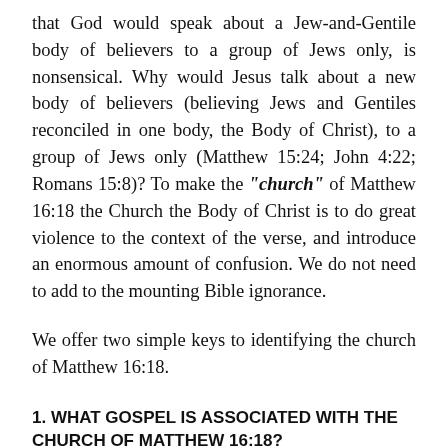that God would speak about a Jew-and-Gentile body of believers to a group of Jews only, is nonsensical. Why would Jesus talk about a new body of believers (believing Jews and Gentiles reconciled in one body, the Body of Christ), to a group of Jews only (Matthew 15:24; John 4:22; Romans 15:8)? To make the “church” of Matthew 16:18 the Church the Body of Christ is to do great violence to the context of the verse, and introduce an enormous amount of confusion. We do not need to add to the mounting Bible ignorance.
We offer two simple keys to identifying the church of Matthew 16:18.
1. WHAT GOSPEL IS ASSOCIATED WITH THE CHURCH OF MATTHEW 16:18?
Peter’s profession in Matthew 16:16 is the first key to